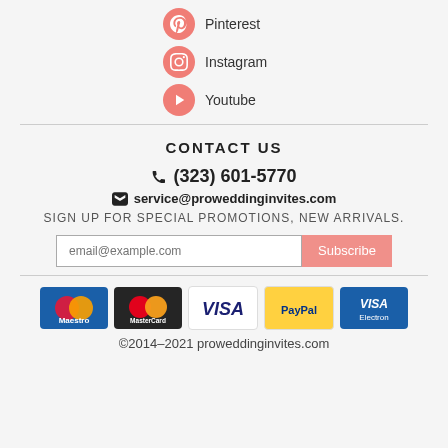Pinterest
Instagram
Youtube
CONTACT US
(323) 601-5770
service@proweddinginvites.com
SIGN UP FOR SPECIAL PROMOTIONS, NEW ARRIVALS.
[Figure (other): Email subscription input field with Subscribe button]
[Figure (other): Payment method logos: Maestro, MasterCard, VISA, PayPal, VISA Electron]
©2014–2021 proweddinginvites.com